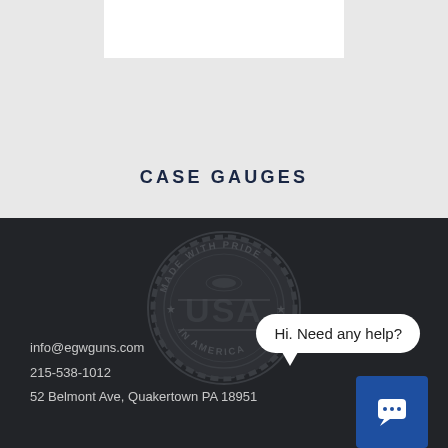CASE GAUGES
[Figure (logo): Made with pride USA in America stamp/seal logo, circular gear-edged badge in dark grey]
Hi. Need any help?
info@egwguns.com
215-538-1012
52 Belmont Ave, Quakertown PA 18951